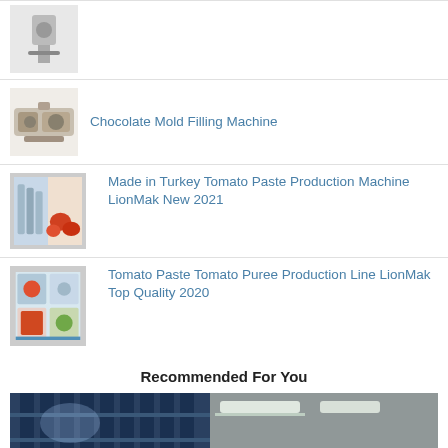(partial item at top — machine image only)
Chocolate Mold Filling Machine
Made in Turkey Tomato Paste Production Machine LionMak New 2021
Tomato Paste Tomato Puree Production Line LionMak Top Quality 2020
Recommended For You
[Figure (photo): Industrial cold storage room with blue shelving racks and ceiling lights, with a WhatsApp button overlay in bottom right]